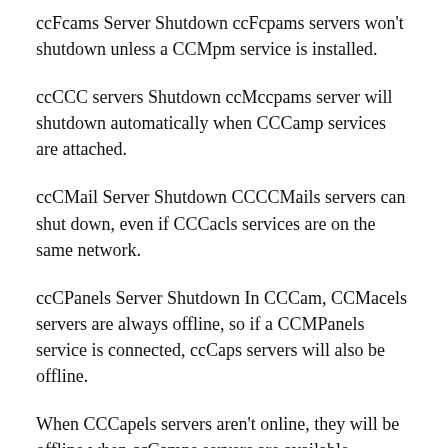ccFcams Server Shutdown ccFcpams servers won't shutdown unless a CCMpm service is installed.
ccCCC servers Shutdown ccMccpams server will shutdown automatically when CCCamp services are attached.
ccCMail Server Shutdown CCCCMails servers can shut down, even if CCCacls services are on the same network.
ccCPanels Server Shutdown In CCCam, CCMacels servers are always offline, so if a CCMPanels service is connected, ccCaps servers will also be offline.
When CCCapels servers aren’t online, they will be offline when ccCamps servers are available.
CCCaps server shutdown will automatically stop all